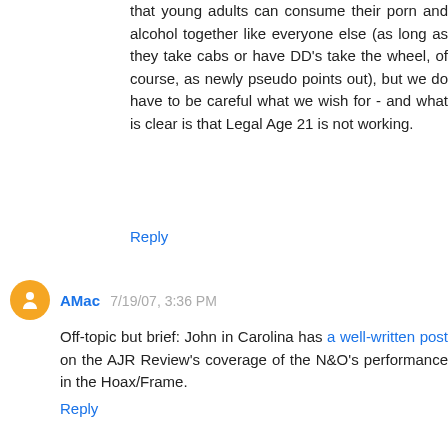that young adults can consume their porn and alcohol together like everyone else (as long as they take cabs or have DD's take the wheel, of course, as newly pseudo points out), but we do have to be careful what we wish for - and what is clear is that Legal Age 21 is not working.
Reply
AMac 7/19/07, 3:36 PM
Off-topic but brief: John in Carolina has a well-written post on the AJR Review's coverage of the N&O's performance in the Hoax/Frame.
Reply
Anonymous 7/19/07, 3:37 PM
There's no doubt in my mind that the drunken jibe, "Hey, why don't you use this (broomstick)?", was just an immature, stupid joke. It's exactly the kind of joke a drunken 20-yr-old guy would make in such a situation